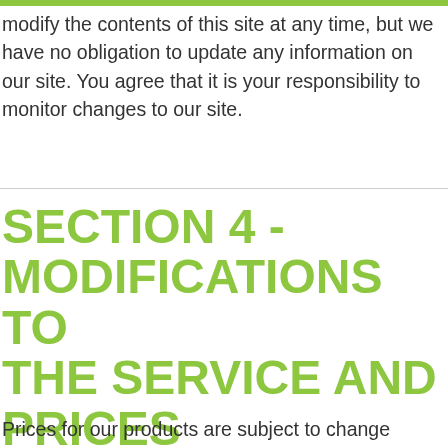modify the contents of this site at any time, but we have no obligation to update any information on our site. You agree that it is your responsibility to monitor changes to our site.
SECTION 4 - MODIFICATIONS TO THE SERVICE AND PRICES
Prices for our products are subject to change without